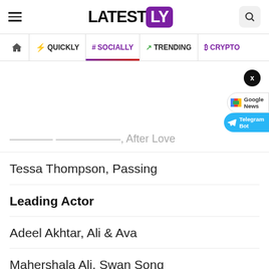LATESTLY
QUICKLY | # SOCIALLY | TRENDING | CRYPTO
…sadna Sadany, After Love
Tessa Thompson, Passing
Leading Actor
Adeel Akhtar, Ali & Ava
Mahershala Ali, Swan Song
Benedict Cumberbatch, The Power Of The Dog
…enedict Cumber…